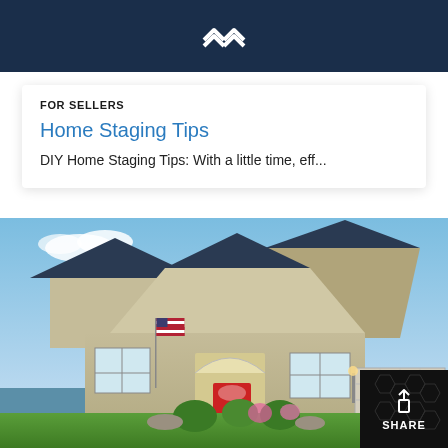[Figure (logo): White double arrow/house logo on dark navy background header bar]
FOR SELLERS
Home Staging Tips
DIY Home Staging Tips: With a little time, eff...
[Figure (photo): Exterior photo of a suburban single-story home with beige siding, dark navy trim, red front door, American flag, garage, blue sky, green landscaping with shrubs and flowers]
[Figure (infographic): Black share button overlay with upload/share icon and SHARE label in white text on dark background with honeycomb pattern]